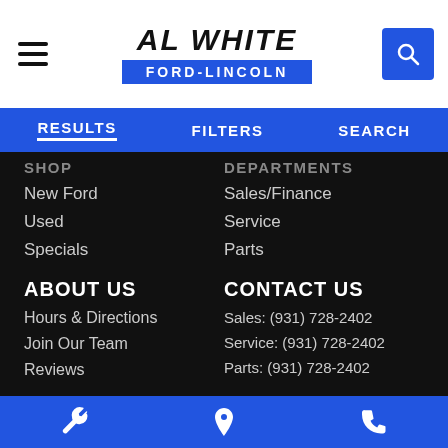AL WHITE FORD-LINCOLN
RESULTS | FILTERS | SEARCH
SHOP
New Ford
Used
Specials
DEPARTMENTS
Sales/Finance
Service
Parts
ABOUT US
Hours & Directions
Join Our Team
Reviews
CONTACT US
Sales: (931) 728-2402
Service: (931) 728-2402
Parts: (931) 728-2402
Showroom: 2002 Hillsboro Blvd. Manchester, TN 37355-7306
FordDirect Privacy | Definitions & Disclosures |